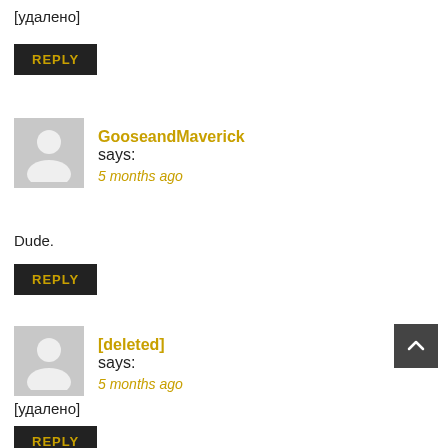[удалено]
REPLY
GooseandMaverick says:
5 months ago
Dude.
REPLY
[deleted] says:
5 months ago
[удалено]
REPLY